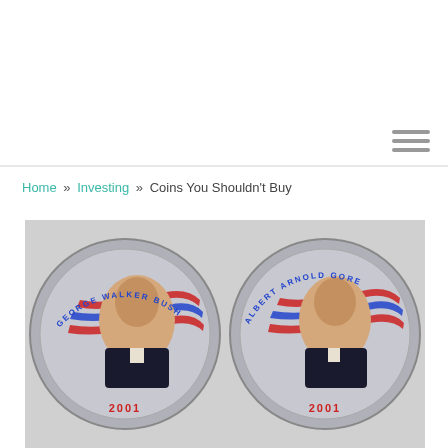Home » Investing » Coins You Shouldn't Buy
[Figure (photo): Two commemorative coins showing George Walker Bush (2001) and Albert Arnold Gore (2001) with colored portrait designs featuring red and blue flag motifs]